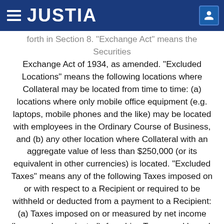JUSTIA
forth in Section 8. "Exchange Act" means the Securities Exchange Act of 1934, as amended. "Excluded Locations" means the following locations where Collateral may be located from time to time: (a) locations where only mobile office equipment (e.g. laptops, mobile phones and the like) may be located with employees in the Ordinary Course of Business, and (b) any other location where Collateral with an aggregate value of less than $250,000 (or its equivalent in other currencies) is located. "Excluded Taxes" means any of the following Taxes imposed on or with respect to a Recipient or required to be withheld or deducted from a payment to a Recipient: (a) Taxes imposed on or measured by net income (however denominated), franchise Taxes, and branch profits Taxes, in each case, (i) imposed as a result of such Recipient being organized under the laws of, or